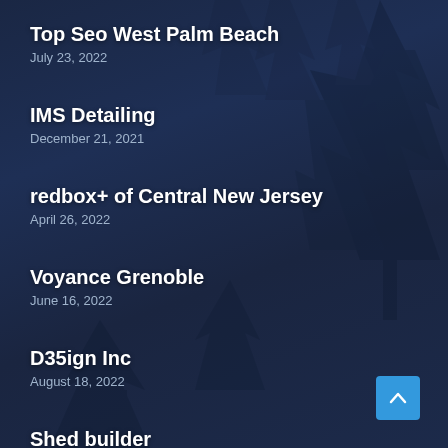Top Seo West Palm Beach
July 23, 2022
IMS Detailing
December 21, 2021
redbox+ of Central New Jersey
April 26, 2022
Voyance Grenoble
June 16, 2022
D35ign Inc
August 18, 2022
Shed builder